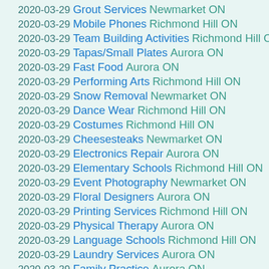2020-03-29 Grout Services Newmarket ON
2020-03-29 Mobile Phones Richmond Hill ON
2020-03-29 Team Building Activities Richmond Hill ON
2020-03-29 Tapas/Small Plates Aurora ON
2020-03-29 Fast Food Aurora ON
2020-03-29 Performing Arts Richmond Hill ON
2020-03-29 Snow Removal Newmarket ON
2020-03-29 Dance Wear Richmond Hill ON
2020-03-29 Costumes Richmond Hill ON
2020-03-29 Cheesesteaks Newmarket ON
2020-03-29 Electronics Repair Aurora ON
2020-03-29 Elementary Schools Richmond Hill ON
2020-03-29 Event Photography Newmarket ON
2020-03-29 Floral Designers Aurora ON
2020-03-29 Printing Services Richmond Hill ON
2020-03-29 Physical Therapy Aurora ON
2020-03-29 Language Schools Richmond Hill ON
2020-03-29 Laundry Services Aurora ON
2020-03-29 Family Practice Aurora ON
2020-03-29 Middle Eastern Aurora ON
2020-03-29 Modern European Richmond Hill ON
2020-03-29 Septic Services Newmarket ON